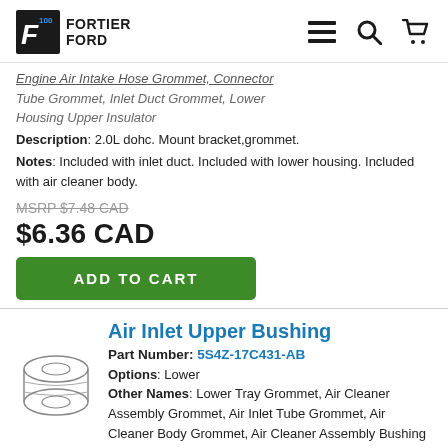Fortier Ford - navigation header
Engine Air Intake Hose Grommet, Connector Tube Grommet, Inlet Duct Grommet, Lower Housing Upper Insulator
Description: 2.0L dohc. Mount bracket,grommet.
Notes: Included with inlet duct. Included with lower housing. Included with air cleaner body.
MSRP $7.48 CAD
$6.36 CAD
ADD TO CART
[Figure (illustration): Line drawing of a cylindrical bushing/grommet part viewed from above at an angle, showing stacked rings]
Air Inlet Upper Bushing
Part Number: 5S4Z-17C431-AB
Options: Lower
Other Names: Lower Tray Grommet, Air Cleaner Assembly Grommet, Air Inlet Tube Grommet, Air Cleaner Body Grommet, Air Cleaner Assembly Bushing